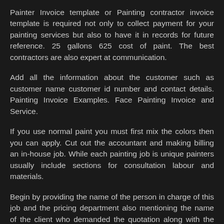Painter Invoice template or Painting contractor invoice template is required not only to collect payment for your painting services but also to have it in records for future reference. 25 gallons 625 cost of paint. The best contractors are also expert at communication.
Add all the information about the customer such as customer name customer id number and contact details. Painting Invoice Examples. Face Painting Invoice and Service.
If you use normal paint you must first mix the colors then you can apply. Cut out the accountant and making billing an in-house job. While each painting job is unique painters usually include sections for consultation labour and materials.
Begin by providing the name of the person in charge of this job and the pricing department also mentioning the name of the client who demanded the quotation along with the date of making this quotation. When you use a painting contractor invoice template you know that your hard work will be rewarded accurately. Understand the clients needs.
It is available in PDF DOC or XLS spreadsheet format. Add on